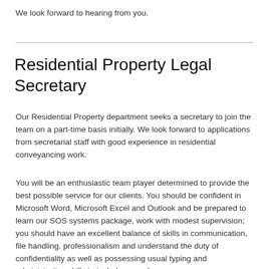We look forward to hearing from you.
Residential Property Legal Secretary
Our Residential Property department seeks a secretary to join the team on a part-time basis initially. We look forward to applications from secretarial staff with good experience in residential conveyancing work.
You will be an enthusiastic team player determined to provide the best possible service for our clients. You should be confident in Microsoft Word, Microsoft Excel and Outlook and be prepared to learn our SOS systems package, work with modest supervision; you should have an excellent balance of skills in communication, file handling, professionalism and understand the duty of confidentiality as well as possessing usual typing and administrative skills to include a good